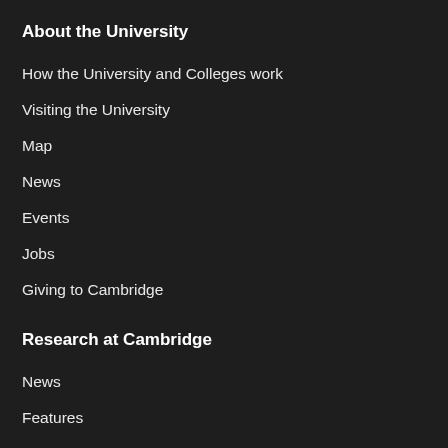About the University
How the University and Colleges work
Visiting the University
Map
News
Events
Jobs
Giving to Cambridge
Research at Cambridge
News
Features